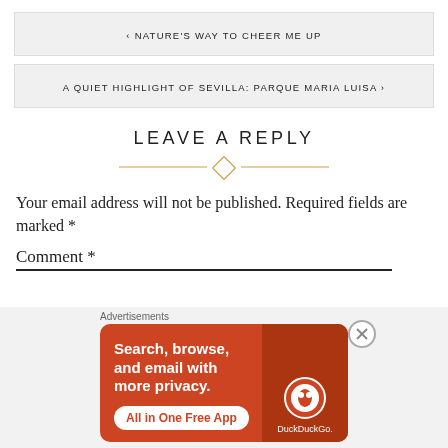< NATURE'S WAY TO CHEER ME UP
A QUIET HIGHLIGHT OF SEVILLA: PARQUE MARIA LUISA >
LEAVE A REPLY
Your email address will not be published. Required fields are marked *
Comment *
Advertisements
[Figure (other): DuckDuckGo advertisement banner: Search, browse, and email with more privacy. All in One Free App. Shows DuckDuckGo logo on a dark phone mockup against orange background.]